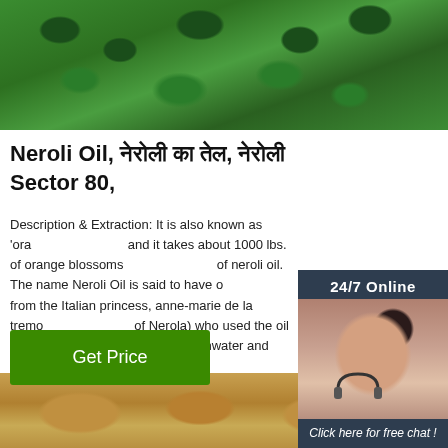[Figure (photo): Green mint/herb leaves photo at the top of the page]
Neroli Oil, नेरोली का तेल, नेरोली Sector 80,
Description & Extraction: It is also known as 'orange blossom oil' and it takes about 1000 lbs. of orange blossoms to produce 1 lb of neroli oil. The name Neroli Oil is said to have originated from the Italian princess, anne-marie de la tremoille (or princess of Nerola) who used the oil as a perfume and to scent her bathwater and gloves. It is still an ingredient for many traditional smelling eau-de ...
[Figure (photo): Customer support representative with headset, 24/7 Online chat sidebar widget with QUOTATION button]
[Figure (infographic): TOP logo with orange dots above in triangular arrangement]
[Figure (photo): Food/snack items photo at the bottom of the page]